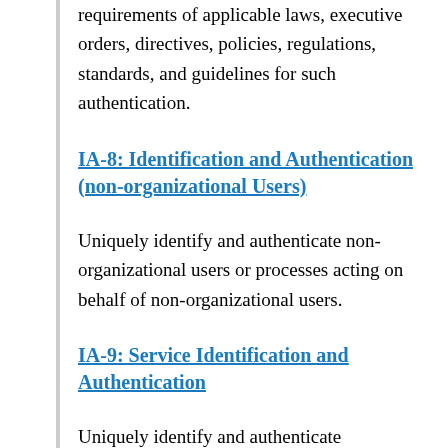requirements of applicable laws, executive orders, directives, policies, regulations, standards, and guidelines for such authentication.
IA-8: Identification and Authentication (non-organizational Users)
Uniquely identify and authenticate non-organizational users or processes acting on behalf of non-organizational users.
IA-9: Service Identification and Authentication
Uniquely identify and authenticate [Assignment: organization-defined system